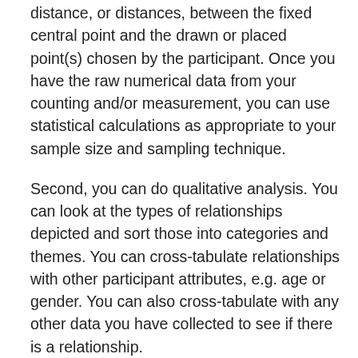distance, or distances, between the fixed central point and the drawn or placed point(s) chosen by the participant. Once you have the raw numerical data from your counting and/or measurement, you can use statistical calculations as appropriate to your sample size and sampling technique.
Second, you can do qualitative analysis. You can look at the types of relationships depicted and sort those into categories and themes. You can cross-tabulate relationships with other participant attributes, e.g. age or gender. You can also cross-tabulate with any other data you have collected to see if there is a relationship.
Third, you can do both. Then you can synthesize your qualitative and quantitative analyses – or, at least, you can try. There are too many ways of synthesizing data to give